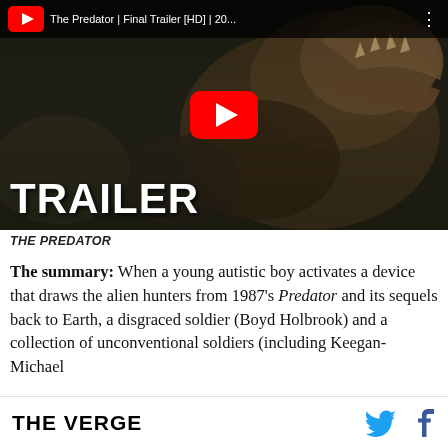[Figure (screenshot): YouTube video thumbnail for 'The Predator | Final Trailer [HD] | 20...' showing a creature/alien with open jaws, large YouTube play button overlay, and 'TRAILER' text at the bottom left. Top bar shows YouTube logo and video title.]
THE PREDATOR
The summary: When a young autistic boy activates a device that draws the alien hunters from 1987's Predator and its sequels back to Earth, a disgraced soldier (Boyd Holbrook) and a collection of unconventional soldiers (including Keegan-Michael
THE VERGE